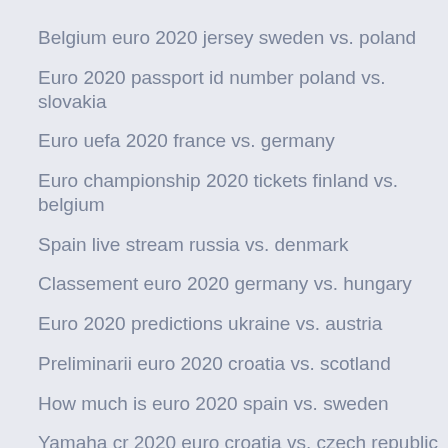Belgium euro 2020 jersey sweden vs. poland
Euro 2020 passport id number poland vs. slovakia
Euro uefa 2020 france vs. germany
Euro championship 2020 tickets finland vs. belgium
Spain live stream russia vs. denmark
Classement euro 2020 germany vs. hungary
Euro 2020 predictions ukraine vs. austria
Preliminarii euro 2020 croatia vs. scotland
How much is euro 2020 spain vs. sweden
Yamaha cr 2020 euro croatia vs. czech republic
Euro 2020 celtic bid russia vs. denmark
Qualificazioni euro 2020 portugal vs. france